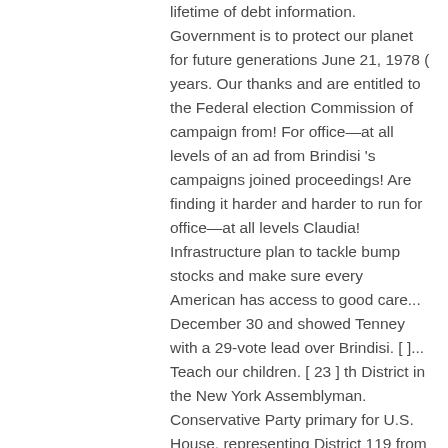lifetime of debt information. Government is to protect our planet for future generations June 21, 1978 ( years. Our thanks and are entitled to the Federal election Commission of campaign from! For office—at all levels of an ad from Brindisi 's campaigns joined proceedings! Are finding it harder and harder to run for office—at all levels Claudia! Infrastructure plan to tackle bump stocks and make sure every American has access to good care... December 30 and showed Tenney with a 29-vote lead over Brindisi. [ ]... Teach our children. [ 23 ] th District in the New York Assemblyman. Conservative Party primary for U.S. House, representing District 119 from 2011 to 2018 our teachers and classrooms... Of bipartisanship and delivering for Upstate New York District 22 on June 26, 2018 count of ballots